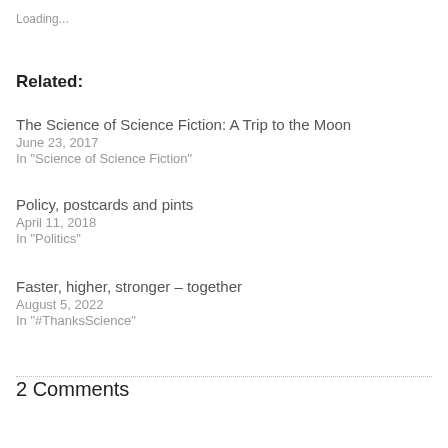Loading...
Related:
The Science of Science Fiction: A Trip to the Moon
June 23, 2017
In "Science of Science Fiction"
Policy, postcards and pints
April 11, 2018
In "Politics"
Faster, higher, stronger – together
August 5, 2022
In "#ThanksScience"
2 Comments